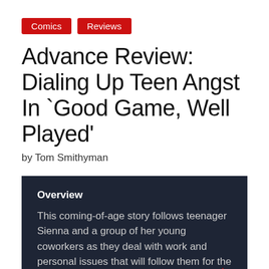Comics | Reviews
Advance Review: Dialing Up Teen Angst In `Good Game, Well Played'
by Tom Smithyman
Overview
This coming-of-age story follows teenager Sienna and a group of her young coworkers as they deal with work and personal issues that will follow them for the rest of their lives. The main characters are well written and